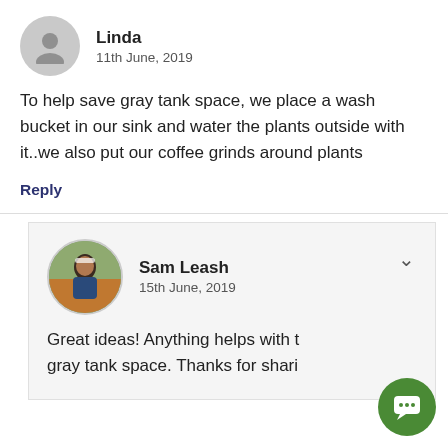Linda
11th June, 2019
To help save gray tank space, we place a wash bucket in our sink and water the plants outside with it..we also put our coffee grinds around plants
Reply
Sam Leash
15th June, 2019
Great ideas! Anything helps with the gray tank space. Thanks for sharing!